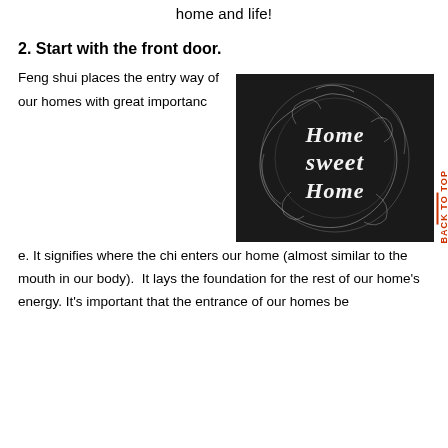home and life!
2. Start with the front door.
[Figure (illustration): Black square image with decorative swirling calligraphy text reading 'Home Sweet Home' in white script on a dark background with ornamental flourishes]
Feng shui places the entry way of our homes with great importance. It signifies where the chi enters our home (almost similar to the mouth in our body). It lays the foundation for the rest of our home's energy. It's important that the entrance of our homes be